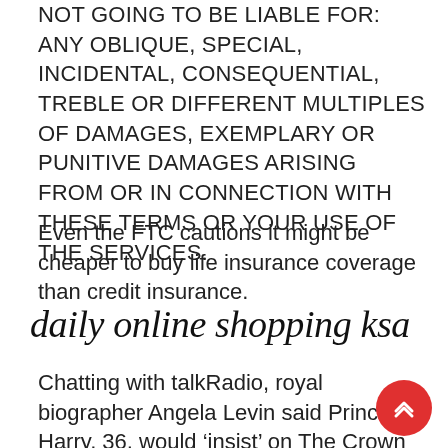NOT GOING TO BE LIABLE FOR: ANY OBLIQUE, SPECIAL, INCIDENTAL, CONSEQUENTIAL, TREBLE OR DIFFERENT MULTIPLES OF DAMAGES, EXEMPLARY OR PUNITIVE DAMAGES ARISING FROM OR IN CONNECTION WITH THESE TERMS OR YOUR USE OF THE SERVICES.
Even the FTC cautions it might be cheaper to buy life insurance coverage than credit insurance.
daily online shopping ksa
Chatting with talkRadio, royal biographer Angela Levin said Prince Harry, 36, would ‘insist’ on The Crown ending before it ‘reaches’ his time in the Royal Family. Whereas some of us say that avenue